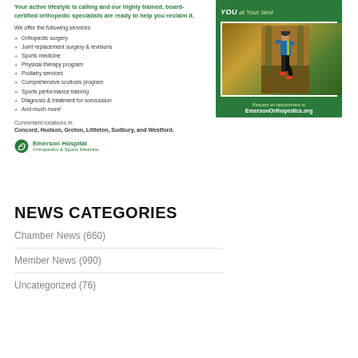Your active lifestyle is calling and our highly trained, board-certified orthopedic specialists are ready to help you reclaim it.
We offer the following services:
Orthopedic surgery
Joint replacement surgery & revisions
Sports medicine
Physical therapy program
Podiatry services
Comprehensive scoliosis program
Sports performance training
Diagnosis & treatment for concussion
And much more!
Convenient locations in:
Concord, Hudson, Groton, Littleton, Sudbury, and Westford.
[Figure (logo): Emerson Hospital Orthopedics & Sports Medicine logo with green swirl icon]
[Figure (photo): Advertisement for Emerson Hospital Orthopedics & Sports Medicine showing a runner in a forest with text 'YOU at Your best' and 'Request an Appointment at EmersonOrthopedics.org' on a green background]
NEWS CATEGORIES
Chamber News (660)
Member News (990)
Uncategorized (76)